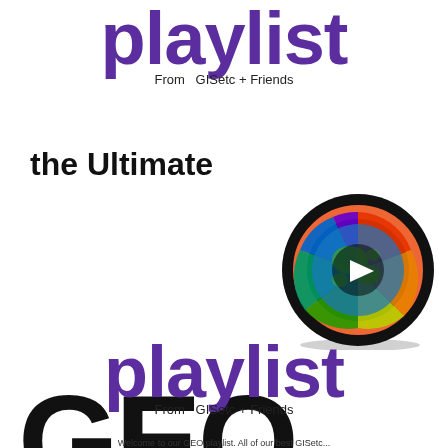playlist
From GISetc + Friends
the Ultimate
GEO
[Figure (illustration): A vinyl record disc with a rainbow-colored world globe play button in the center, black circular disc with colorful globe and white play triangle icon]
playlist
From GISetc + Friends
Welcome to our GEO playlist. All of our best GISetc...